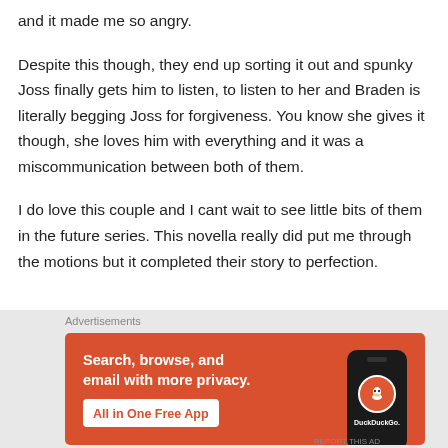and it made me so angry.
Despite this though, they end up sorting it out and spunky Joss finally gets him to listen, to listen to her and Braden is literally begging Joss for forgiveness. You know she gives it though, she loves him with everything and it was a miscommunication between both of them.
I do love this couple and I cant wait to see little bits of them in the future series. This novella really did put me through the motions but it completed their story to perfection.
[Figure (screenshot): DuckDuckGo advertisement banner: orange background with white text 'Search, browse, and email with more privacy.' and 'All in One Free App' button, with a phone showing the DuckDuckGo logo on the right side.]